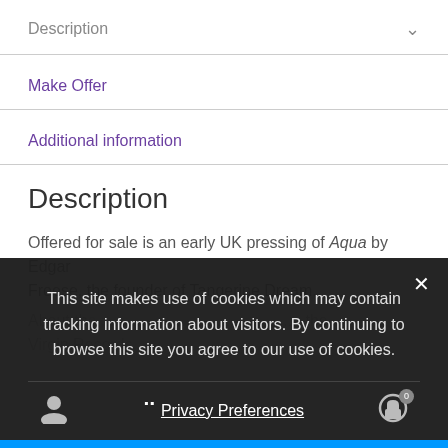Description
Make Offer
Additional information
Description
Offered for sale is an early UK pressing of Aqua by Edgar Froese, the founder of Tangerine Dream.
About the Virgin Records...
This site makes use of cookies which may contain tracking information about visitors. By continuing to browse this site you agree to our use of cookies.
Privacy Preferences